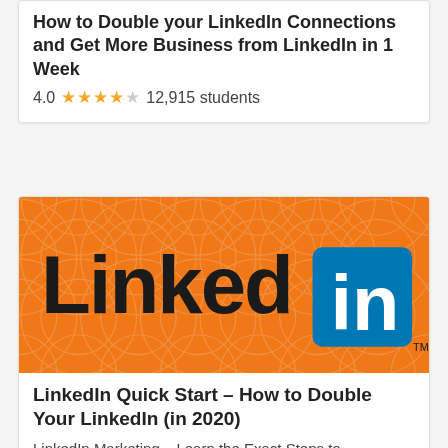How to Double your LinkedIn Connections and Get More Business from LinkedIn in 1 Week
4.0 ★★★★☆ 12,915 students
[Figure (logo): LinkedIn logo on orange background with geometric circle pattern]
LinkedIn Quick Start – How to Double Your LinkedIn (in 2020)
LinkedIn Marketing – Learn the Exact Steps to